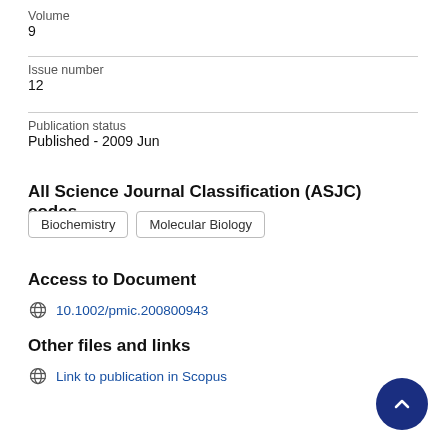Volume
9
Issue number
12
Publication status
Published - 2009 Jun
All Science Journal Classification (ASJC) codes
Biochemistry
Molecular Biology
Access to Document
10.1002/pmic.200800943
Other files and links
Link to publication in Scopus